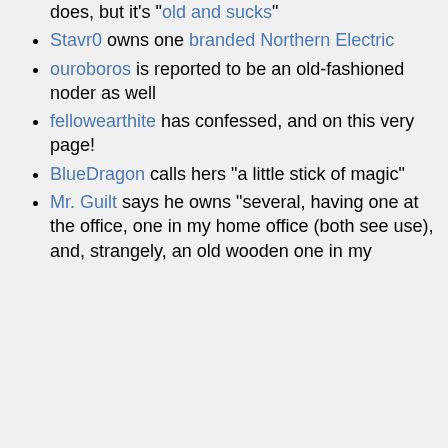does, but it's "old and sucks"
Stavr0 owns one branded Northern Electric
ouroboros is reported to be an old-fashioned noder as well
fellowearthite has confessed, and on this very page!
BlueDragon calls hers "a little stick of magic"
Mr. Guilt says he owns "several, having one at the office, one in my home office (both see use), and, strangely, an old wooden one in my...